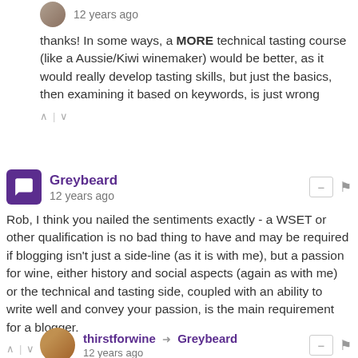12 years ago
thanks! In some ways, a MORE technical tasting course (like a Aussie/Kiwi winemaker) would be better, as it would really develop tasting skills, but just the basics, then examining it based on keywords, is just wrong
Greybeard
12 years ago
Rob, I think you nailed the sentiments exactly - a WSET or other qualification is no bad thing to have and may be required if blogging isn't just a side-line (as it is with me), but a passion for wine, either history and social aspects (again as with me) or the technical and tasting side, coupled with an ability to write well and convey your passion, is the main requirement for a blogger.
thirstforwine → Greybeard
12 years ago